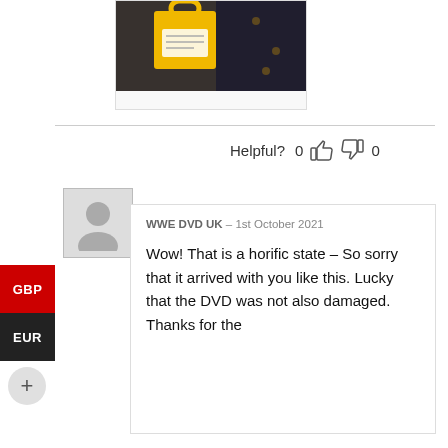[Figure (photo): A yellow bag/package held by a person, partially visible at top of page]
Helpful? 0 👍 0 👎
[Figure (photo): Gray placeholder avatar/profile silhouette icon]
WWE DVD UK – 1st October 2021
Wow! That is a horific state – So sorry that it arrived with you like this. Lucky that the DVD was not also damaged. Thanks for the